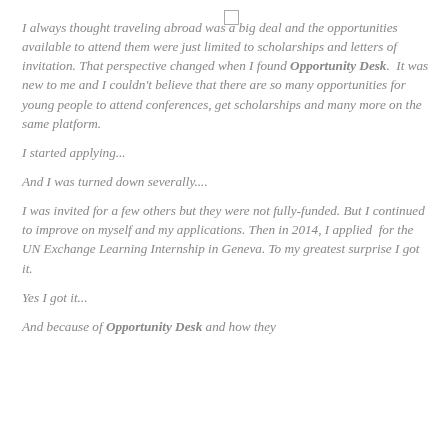I always thought traveling abroad was a big deal and the opportunities available to attend them were just limited to scholarships and letters of invitation. That perspective changed when I found Opportunity Desk.  It was new to me and I couldn't believe that there are so many opportunities for young people to attend conferences, get scholarships and many more on the same platform.
I started applying...
And I was turned down severally....
I was invited for a few others but they were not fully-funded. But I continued to improve on myself and my applications. Then in 2014, I applied  for the UN Exchange Learning Internship in Geneva. To my greatest surprise I got it.
Yes I got it...
And because of Opportunity Desk and how they...